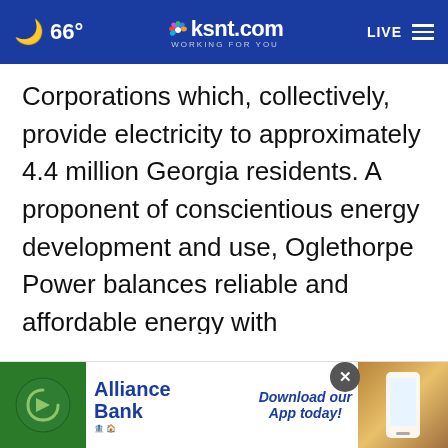66° ksnt.com WORKING FOR YOU LIVE
Corporations which, collectively, provide electricity to approximately 4.4 million Georgia residents. A proponent of conscientious energy development and use, Oglethorpe Power balances reliable and affordable energy with environmental responsibility and has an outstanding record of regulatory compliance. Its diverse energy portfolio includes natural gas, nuclear, hydroelectric and coal generating plant[s with more] than 8,300 megawatts of power.
[Figure (screenshot): Alliance Bank advertisement with logo: 'Download our App today!' with phone image and close button]